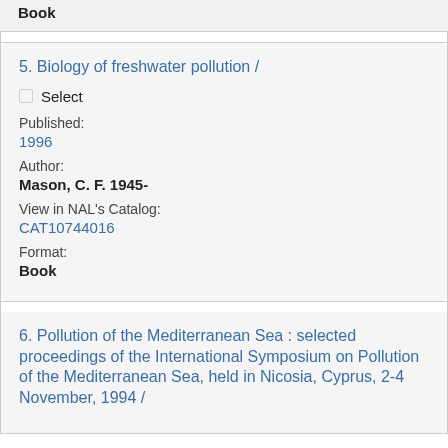Book
5. Biology of freshwater pollution /
Published: 1996
Author: Mason, C. F. 1945-
View in NAL's Catalog: CAT10744016
Format: Book
6. Pollution of the Mediterranean Sea : selected proceedings of the International Symposium on Pollution of the Mediterranean Sea, held in Nicosia, Cyprus, 2-4 November, 1994 /